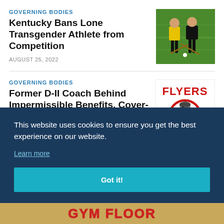GOVERNING BODIES
Kentucky Bans Lone Transgender Athlete from Competition
AUGUST 25, 2022
[Figure (photo): Photo of field hockey players on a green field]
GOVERNING BODIES
Former D-II Coach Behind Impermissible Benefits, Cover-Up
[Figure (logo): Flyers mascot logo - red and white with a caped figure]
This website uses cookies to ensure you get the best experience on our website.
Learn more
Got it!
[Figure (photo): Bottom banner showing GYM FLOOR text in red on wooden floor background]